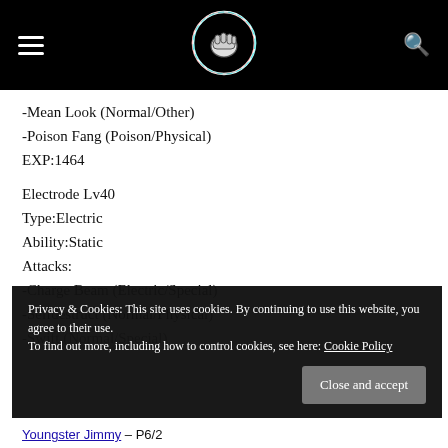[Navigation bar with hamburger menu, logo, and search icon]
-Mean Look (Normal/Other)
-Poison Fang (Poison/Physical)
EXP:1464
Electrode Lv40
Type:Electric
Ability:Static
Attacks:
-Charge Beam (Electric/Special)
-Selfdestruct (Normal/Physical)
-Swift (Normal/Special)
Privacy & Cookies: This site uses cookies. By continuing to use this website, you agree to their use.
To find out more, including how to control cookies, see here: Cookie Policy
Youngster Jimmy – P6/2